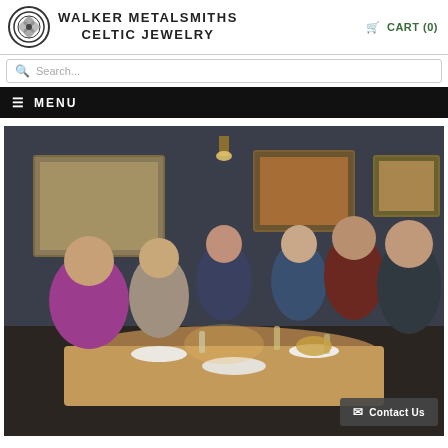WALKER METALSMITHS CELTIC JEWELRY | CART (0)
Search...
≡ MENU
[Figure (photo): Six people seated around a dining table in a dimly lit restaurant with dark walls and framed paintings. They are smiling at the camera. Food and drinks are on the table.]
✉ Contact Us